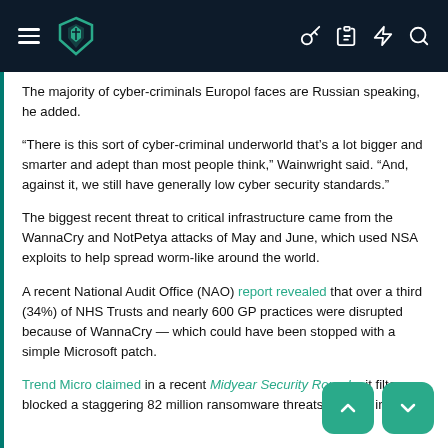[Figure (screenshot): Dark navigation bar with hamburger menu, teal shield logo, and icons for key, clipboard, lightning, and search on the right]
The majority of cyber-criminals Europol faces are Russian speaking, he added.
“There is this sort of cyber-criminal underworld that’s a lot bigger and smarter and adept than most people think,” Wainwright said. “And, against it, we still have generally low cyber security standards.”
The biggest recent threat to critical infrastructure came from the WannaCry and NotPetya attacks of May and June, which used NSA exploits to help spread worm-like around the world.
A recent National Audit Office (NAO) report revealed that over a third (34%) of NHS Trusts and nearly 600 GP practices were disrupted because of WannaCry — which could have been stopped with a simple Microsoft patch.
Trend Micro claimed in a recent Midyear Security Round... its filters blocked a staggering 82 million ransomware threats globally in